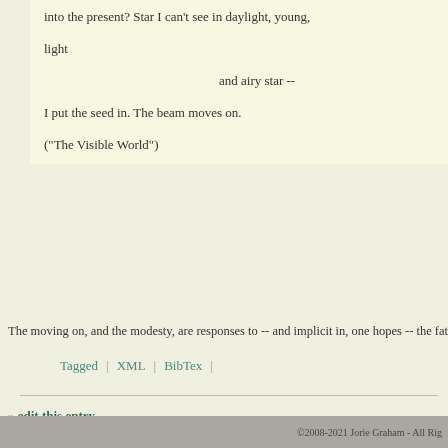into the present? Star I can't see in daylight, young,
light
and airy star --
I put the seed in. The beam moves on.
("The Visible World")
The moving on, and the modesty, are responses to -- and implicit in, one hopes -- the fate
Tagged | XML | BibTex |
» edit this entry
©2008-2021 Jorie Graham - All Rig